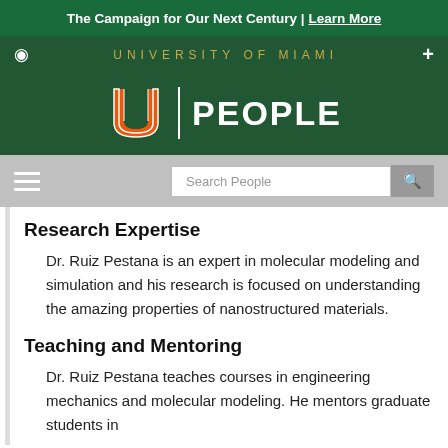The Campaign for Our Next Century | Learn More
UNIVERSITY OF MIAMI
[Figure (logo): University of Miami U logo with 'PEOPLE' text on green background]
Search People
Research Expertise
Dr. Ruiz Pestana is an expert in molecular modeling and simulation and his research is focused on understanding the amazing properties of nanostructured materials.
Teaching and Mentoring
Dr. Ruiz Pestana teaches courses in engineering mechanics and molecular modeling. He mentors graduate students in